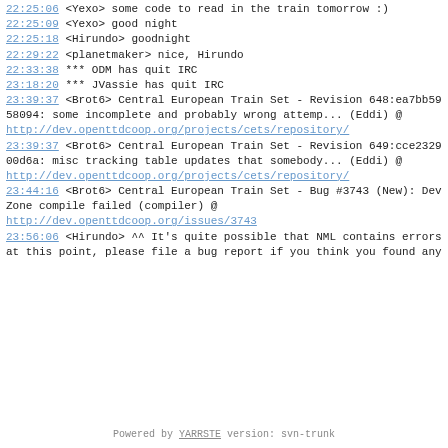22:25:06   <Yexo> some code to read in the train tomorrow :)
22:25:09   <Yexo> good night
22:25:18   <Hirundo> goodnight
22:29:22   <planetmaker> nice, Hirundo
22:33:38   *** ODM has quit IRC
23:18:20   *** JVassie has quit IRC
23:39:37   <Brot6> Central European Train Set - Revision 648:ea7bb5958094: some incomplete and probably wrong attemp... (Eddi) @ http://dev.openttdcoop.org/projects/cets/repository/
23:39:37   <Brot6> Central European Train Set - Revision 649:cce232900d6a: misc tracking table updates that somebody... (Eddi) @ http://dev.openttdcoop.org/projects/cets/repository/
23:44:16   <Brot6> Central European Train Set - Bug #3743 (New): DevZone compile failed (compiler) @ http://dev.openttdcoop.org/issues/3743
23:56:06   <Hirundo> ^^ It's quite possible that NML contains errors at this point, please file a bug report if you think you found any
Powered by YARRSTE version: svn-trunk